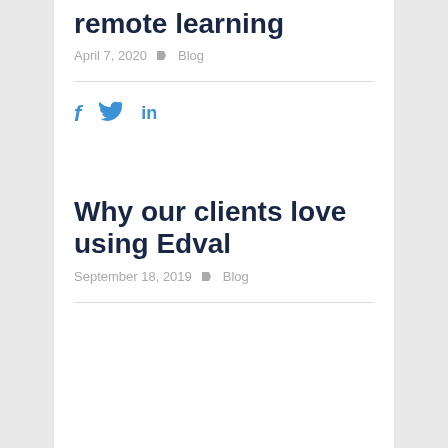remote learning
April 7, 2020  Blog
[Figure (infographic): Social share icons: Facebook (f), Twitter (bird), LinkedIn (in) in blue]
Why our clients love using Edval
September 18, 2019  Blog